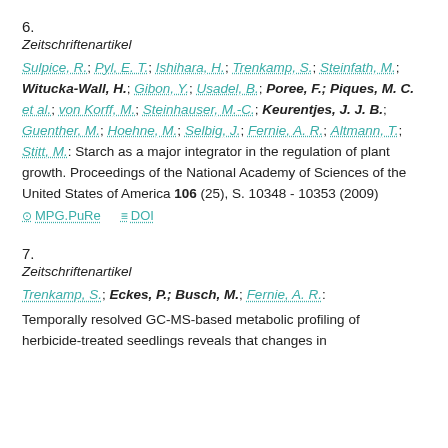6.
Zeitschriftenartikel
Sulpice, R.; Pyl, E. T.; Ishihara, H.; Trenkamp, S.; Steinfath, M.; Witucka-Wall, H.; Gibon, Y.; Usadel, B.; Poree, F.; Piques, M. C. et al.; von Korff, M.; Steinhauser, M.-C.; Keurentjes, J. J. B.; Guenther, M.; Hoehne, M.; Selbig, J.; Fernie, A. R.; Altmann, T.; Stitt, M.: Starch as a major integrator in the regulation of plant growth. Proceedings of the National Academy of Sciences of the United States of America 106 (25), S. 10348 - 10353 (2009)
MPG.PuRe   DOI
7.
Zeitschriftenartikel
Trenkamp, S.; Eckes, P.; Busch, M.; Fernie, A. R.: Temporally resolved GC-MS-based metabolic profiling of herbicide-treated seedlings reveals that changes in...